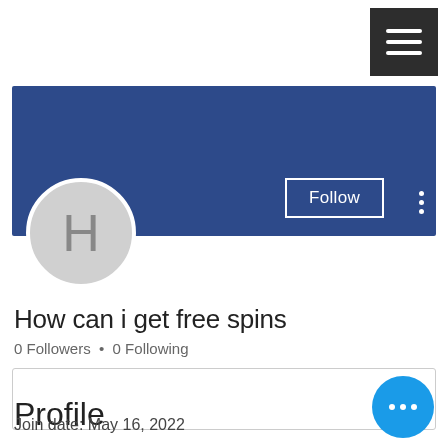[Figure (screenshot): Mobile app screenshot showing a user profile page with a dark blue banner header, a circular avatar with letter H, Follow button, vertical dots menu, user name 'How can i get free spins', follower/following counts, a dropdown section, and Profile section with join date.]